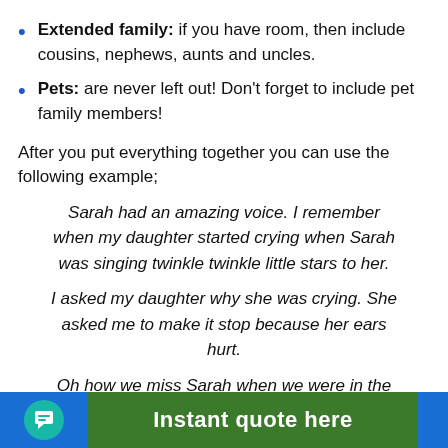Extended family: if you have room, then include cousins, nephews, aunts and uncles.
Pets: are never left out! Don't forget to include pet family members!
After you put everything together you can use the following example;
Sarah had an amazing voice. I remember when my daughter started crying when Sarah was singing twinkle twinkle little stars to her.
I asked my daughter why she was crying. She asked me to make it stop because her ears hurt.
Oh how we miss Sarah when we were in the living room watching TV while she sang in the shower as she bathed before going to bed.
Instant quote here